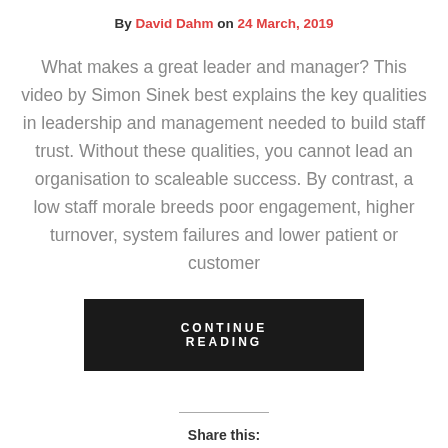By David Dahm on 24 March, 2019
What makes a great leader and manager? This video by Simon Sinek best explains the key qualities in leadership and management needed to build staff trust. Without these qualities, you cannot lead an organisation to scaleable success. By contrast, a low staff morale breeds poor engagement, higher turnover, system failures and lower patient or customer
CONTINUE READING
Share this: